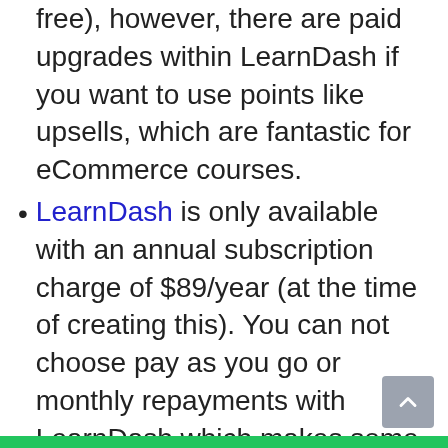free), however, there are paid upgrades within LearnDash if you want to use points like upsells, which are fantastic for eCommerce courses.
LearnDash is only available with an annual subscription charge of $89/year (at the time of creating this). You can not choose pay as you go or monthly repayments with LearnDash which makes some individuals unpleasant about investing big quantities in advance instead of paying even more over time.